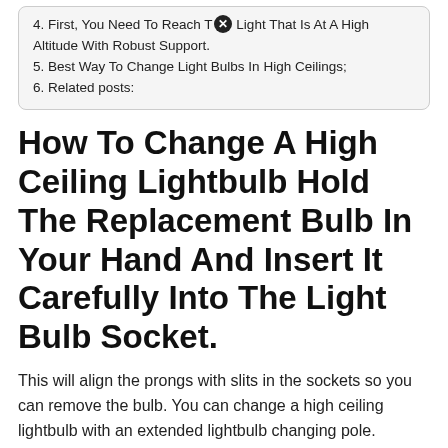4. First, You Need To Reach The Light That Is At A High Altitude With Robust Support.
5. Best Way To Change Light Bulbs In High Ceilings;
6. Related posts:
How To Change A High Ceiling Lightbulb Hold The Replacement Bulb In Your Hand And Insert It Carefully Into The Light Bulb Socket.
This will align the prongs with slits in the sockets so you can remove the bulb. You can change a high ceiling lightbulb with an extended lightbulb changing pole. Explore our wide range of led lightings for indoor & outdoor, from grow lights, light bulbs, flood lights, garage light, security lights, ultraviolet lights, night light, desk lamps, etc.